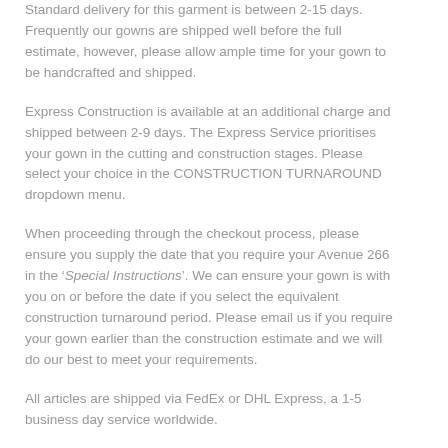Standard delivery for this garment is between 2-15 days. Frequently our gowns are shipped well before the full estimate, however, please allow ample time for your gown to be handcrafted and shipped.
Express Construction is available at an additional charge and shipped between 2-9 days. The Express Service prioritises your gown in the cutting and construction stages. Please select your choice in the CONSTRUCTION TURNAROUND dropdown menu.
When proceeding through the checkout process, please ensure you supply the date that you require your Avenue 266 in the ‘Special Instructions’. We can ensure your gown is with you on or before the date if you select the equivalent construction turnaround period. Please email us if you require your gown earlier than the construction estimate and we will do our best to meet your requirements.
All articles are shipped via FedEx or DHL Express, a 1-5 business day service worldwide.